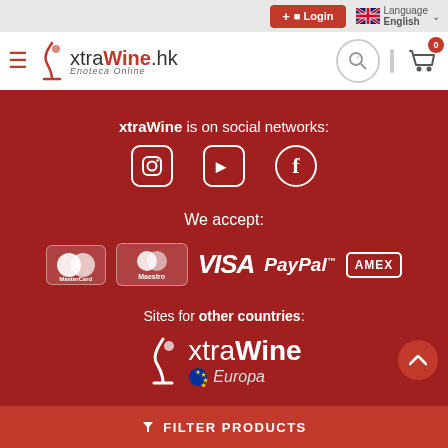xtraWine.hk Enoteca Online — Login, Language: English, shopping cart
xtraWine is on social networks:
[Figure (illustration): Social media icons: Instagram, YouTube, Facebook]
We accept:
[Figure (illustration): Payment method logos: MasterCard, Maestro, VISA, PayPal, AMEX]
Sites for other countries:
[Figure (logo): xtraWine Europa logo with EU flag]
FILTER PRODUCTS